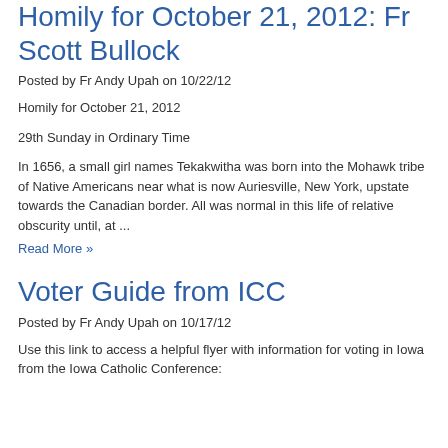Homily for October 21, 2012: Fr Scott Bullock
Posted by Fr Andy Upah on 10/22/12
Homily for October 21, 2012
29th Sunday in Ordinary Time
In 1656, a small girl names Tekakwitha was born into the Mohawk tribe of Native Americans near what is now Auriesville, New York, upstate towards the Canadian border. All was normal in this life of relative obscurity until, at ...
Read More »
Voter Guide from ICC
Posted by Fr Andy Upah on 10/17/12
Use this link to access a helpful flyer with information for voting in Iowa from the Iowa Catholic Conference: